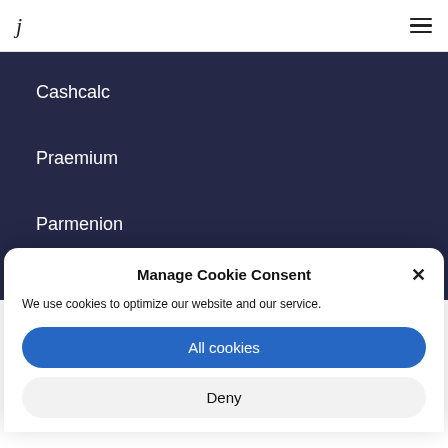j ☰
Cashcalc
Praemium
Parmenion
Manage Cookie Consent
We use cookies to optimize our website and our service.
All cookies
Deny